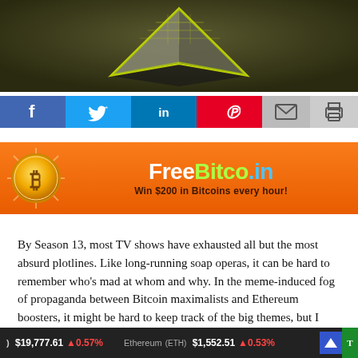[Figure (illustration): 3D rendered image of a glowing yellow-green pyramid or crystal shape on a dark olive/khaki background]
[Figure (infographic): Social media sharing bar with buttons: Facebook (f), Twitter (bird), LinkedIn (in), Pinterest (P), Email (envelope), Print (printer)]
[Figure (infographic): FreeBitco.in advertisement banner with orange background, Bitcoin coin graphic on left, green/white FreeBitco.in text and 'Win $200 in Bitcoins every hour!' tagline]
By Season 13, most TV shows have exhausted all but the most absurd plotlines. Like long-running soap operas, it can be hard to remember who's mad at whom and why. In the meme-induced fog of propaganda between Bitcoin maximalists and Ethereum boosters, it might be hard to keep track of the big themes, but I believe two overarching ones will shape the
Bitcoin $19,777.61 +0.57%  Ethereum (ETH) $1,552.51 +0.53%